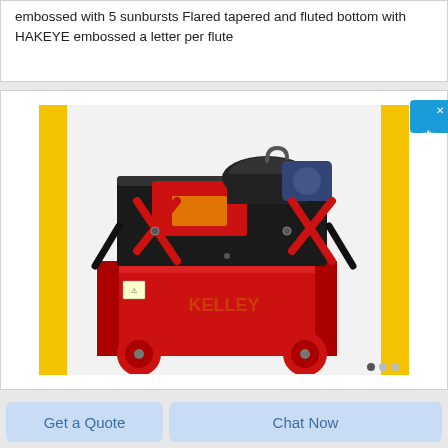embossed with 5 sunbursts Flared tapered and fluted bottom with HAKEYE embossed a letter per flute
[Figure (photo): Industrial red and black machine (rebar thread rolling machine / pipe threading machine) on red wheels, brand name KELLEY visible on the body, flanked by yellow vertical bars on left and right sides of the image frame.]
Get a Quote
Chat Now